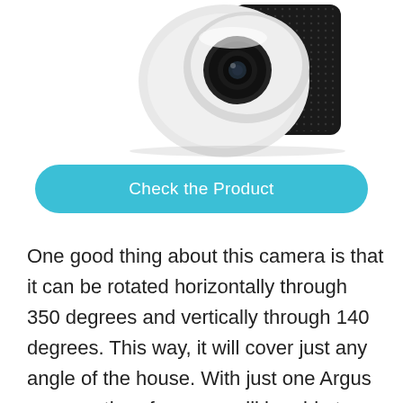[Figure (photo): Security camera with white and black housing and a black textured speaker/mount on the right side, viewed from above at an angle]
Check the Product
One good thing about this camera is that it can be rotated horizontally through 350 degrees and vertically through 140 degrees. This way, it will cover just any angle of the house. With just one Argus camera, therefore, you will be able to easily monitor the entire porch or sore front. You will enjoy 1080p high-resolution images and a 105 degrees wide field of vision. The camera has been